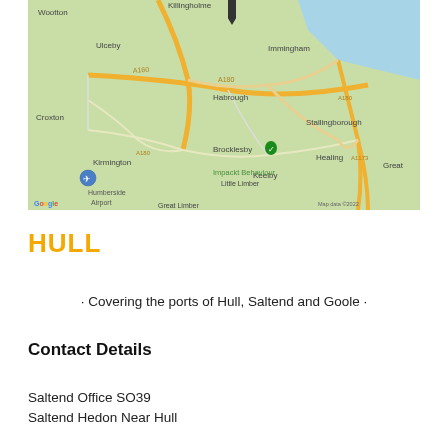[Figure (map): Google Map showing area around Killingholme, Immingham, Habrough, Brocklesby, Stallingborough, Healing, Keelby, Kirmington, Croxton, Ulceby, Wootton, Great Limber, Little Limber, Humberside Airport. Includes road labels A160, A180, A1136, A1173. Green map pin at Killingholme area and green marker for Impackt Behaviour. Google logo and 'Map data ©2022' visible.]
HULL
· Covering the ports of Hull, Saltend and Goole ·
Contact Details
Saltend Office SO39
Saltend Hedon Near Hull